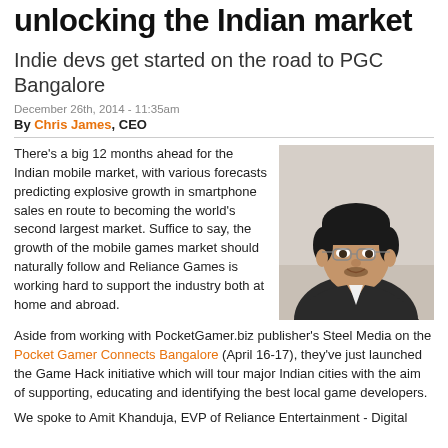unlocking the Indian market
Indie devs get started on the road to PGC Bangalore
December 26th, 2014 - 11:35am
By Chris James, CEO
There's a big 12 months ahead for the Indian mobile market, with various forecasts predicting explosive growth in smartphone sales en route to becoming the world's second largest market. Suffice to say, the growth of the mobile games market should naturally follow and Reliance Games is working hard to support the industry both at home and abroad.
[Figure (photo): Headshot photo of a man with glasses and dark hair, wearing a dark jacket over white shirt, smiling, against a neutral background.]
Aside from working with PocketGamer.biz publisher's Steel Media on the Pocket Gamer Connects Bangalore (April 16-17), they've just launched the Game Hack initiative which will tour major Indian cities with the aim of supporting, educating and identifying the best local game developers.
We spoke to Amit Khanduja, EVP of Reliance Entertainment - Digital